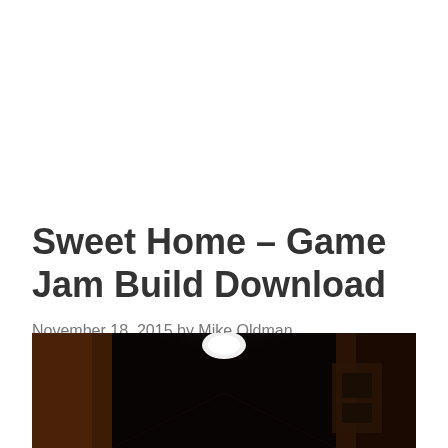Sweet Home – Game Jam Build Download
November 18, 2015 by Mike Oldman
[Figure (photo): Dark interior corridor/hallway with a bright ceiling light glowing in the center, wooden panels on the sides, viewed from below looking up]